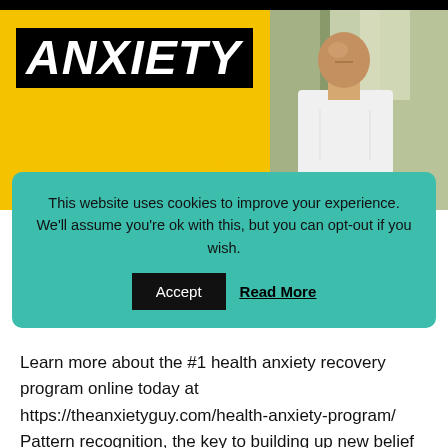[Figure (photo): Anxiety Awareness banner image with yellow background showing 'ANXIETY' in bold white text on black box and 'AWARENESS' in yellow below, alongside a photo of a bald man in a white shirt looking upward outdoors among trees.]
This website uses cookies to improve your experience. We'll assume you're ok with this, but you can opt-out if you wish. Accept Read More
Learn more about the #1 health anxiety recovery program online today at https://theanxietyguy.com/health-anxiety-program/ Pattern recognition, the key to building up new belief systems and identity. In this video